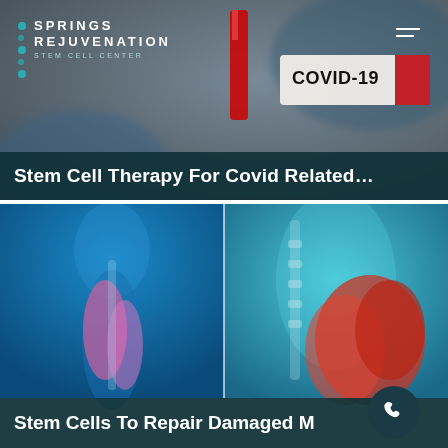[Figure (photo): Springs Rejuvenation Stem Cell Center website screenshot showing logo with teal dots and text 'SPRINGS REJUVENATION STEM CELL CENTER' on dark blurred lab background, hamburger menu icon top right, COVID-19 labeled test tube image, and medical anatomy muscle repair illustrations]
Stem Cell Therapy For Covid Related...
Stem Cells To Repair Damaged M...e